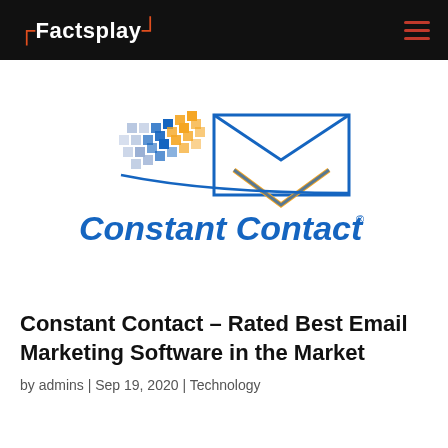Factsplay
[Figure (logo): Constant Contact logo with envelope icon and colorful checkered pattern, blue text reading 'Constant Contact' with registered trademark symbol]
Constant Contact – Rated Best Email Marketing Software in the Market
by admins | Sep 19, 2020 | Technology